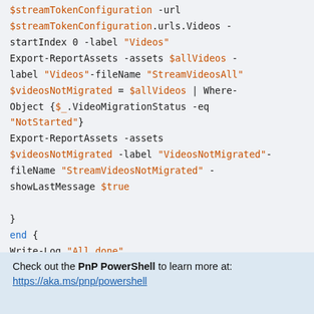$streamTokenConfiguration -url $streamTokenConfiguration.urls.Videos -startIndex 0 -label "Videos"
    Export-ReportAssets -assets $allVideos -label "Videos"-fileName "StreamVideosAll"
    $videosNotMigrated = $allVideos | Where-Object {$_.VideoMigrationStatus -eq "NotStarted"}
    Export-ReportAssets -assets $videosNotMigrated -label "VideosNotMigrated"-fileName "StreamVideosNotMigrated" -showLastMessage $true

}
end {
    Write-Log "All done"
}
Check out the PnP PowerShell to learn more at:
https://aka.ms/pnp/powershell